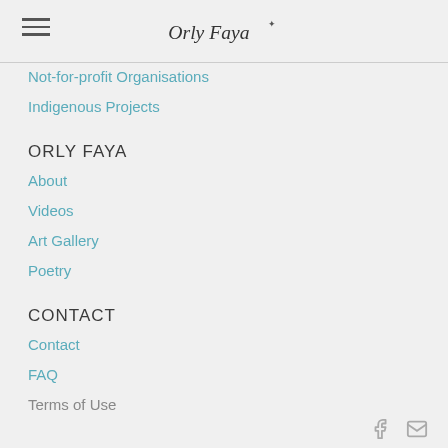[Figure (logo): Orly Faya cursive script logo in dark ink]
Not-for-profit Organisations
Indigenous Projects
ORLY FAYA
About
Videos
Art Gallery
Poetry
CONTACT
Contact
FAQ
Terms of Use
Facebook and email icons